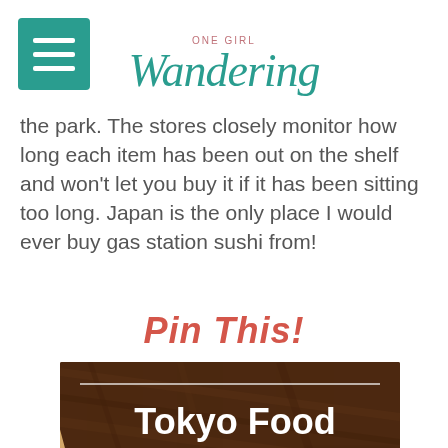ONE GIRL Wandering
the park. The stores closely monitor how long each item has been out on the shelf and won't let you buy it if it has been sitting too long. Japan is the only place I would ever buy gas station sushi from!
Pin This!
[Figure (photo): Tokyo Food Guide promotional image with chopstick and sushi bowl on dark wood background]